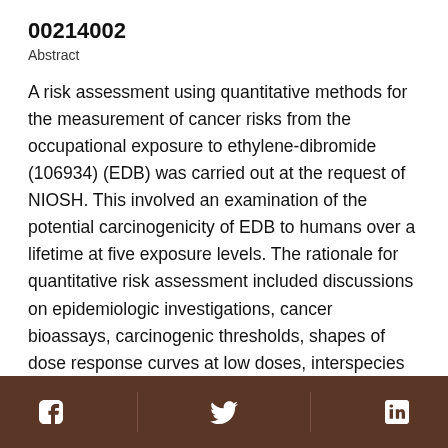00214002
Abstract
A risk assessment using quantitative methods for the measurement of cancer risks from the occupational exposure to ethylene-dibromide (106934) (EDB) was carried out at the request of NIOSH. This involved an examination of the potential carcinogenicity of EDB to humans over a lifetime at five exposure levels. The rationale for quantitative risk assessment included discussions on epidemiologic investigations, cancer bioassays, carcinogenic thresholds, shapes of dose response curves at low doses, interspecies conversion, overall sensitivity to carcinogenesis, scaling factors, benign versus malignant tumors, other influencing factors, and short term assays. Results of four rodent assays for the carcinogenicity
Social media icons: Facebook, Twitter, LinkedIn